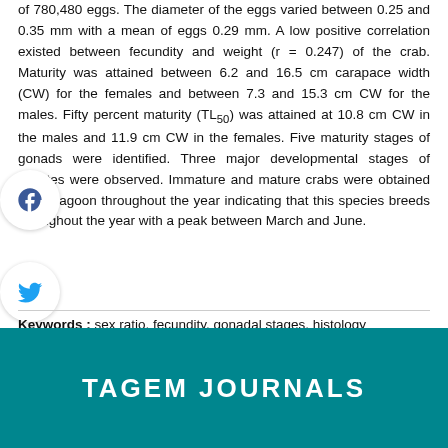of 780,480 eggs. The diameter of the eggs varied between 0.25 and 0.35 mm with a mean of eggs 0.29 mm. A low positive correlation existed between fecundity and weight (r = 0.247) of the crab. Maturity was attained between 6.2 and 16.5 cm carapace width (CW) for the females and between 7.3 and 15.3 cm CW for the males. Fifty percent maturity (TL50) was attained at 10.8 cm CW in the males and 11.9 cm CW in the females. Five maturity stages of gonads were identified. Three major developmental stages of oocytes were observed. Immature and mature crabs were obtained in the lagoon throughout the year indicating that this species breeds throughout the year with a peak between March and June.
Keywords : sex ratio, fecundity, gonadal stages, histology
[Figure (infographic): Social media share bar showing 1.2k shares with buttons for Facebook, Twitter, Pinterest, Email, SMS, and general share]
TAGEM JOURNALS